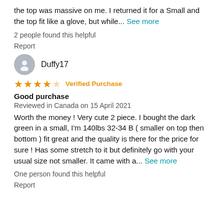the top was massive on me. I returned it for a Small and the top fit like a glove, but while... See more
2 people found this helpful
Report
Duffy17
★★★★☆ Verified Purchase
Good purchase
Reviewed in Canada on 15 April 2021
Worth the money ! Very cute 2 piece. I bought the dark green in a small, I'm 140lbs 32-34 B ( smaller on top then bottom ) fit great and the quality is there for the price for sure ! Has some stretch to it but definitely go with your usual size not smaller. It came with a... See more
One person found this helpful
Report